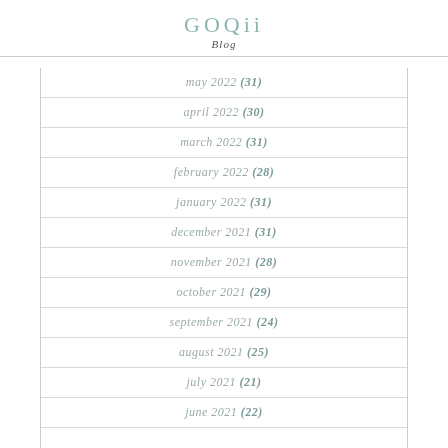GOQii Blog
may 2022 (31)
april 2022 (30)
march 2022 (31)
february 2022 (28)
january 2022 (31)
december 2021 (31)
november 2021 (28)
october 2021 (29)
september 2021 (24)
august 2021 (25)
july 2021 (21)
june 2021 (22)